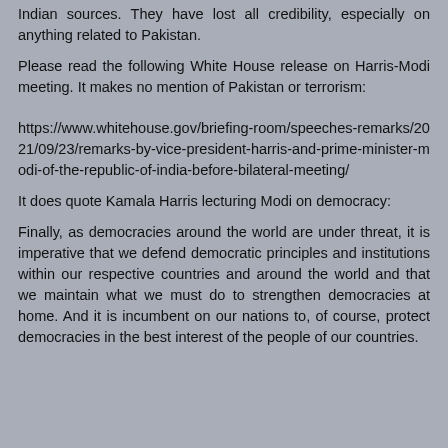Indian sources. They have lost all credibility, especially on anything related to Pakistan.
Please read the following White House release on Harris-Modi meeting. It makes no mention of Pakistan or terrorism:
https://www.whitehouse.gov/briefing-room/speeches-remarks/2021/09/23/remarks-by-vice-president-harris-and-prime-minister-modi-of-the-republic-of-india-before-bilateral-meeting/
It does quote Kamala Harris lecturing Modi on democracy:
Finally, as democracies around the world are under threat, it is imperative that we defend democratic principles and institutions within our respective countries and around the world and that we maintain what we must do to strengthen democracies at home. And it is incumbent on our nations to, of course, protect democracies in the best interest of the people of our countries.